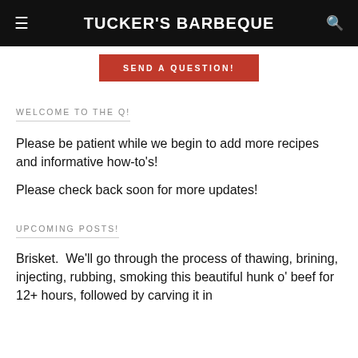TUCKER'S BARBEQUE
[Figure (other): SEND A QUESTION! button in red/brown background]
WELCOME TO THE Q!
Please be patient while we begin to add more recipes and informative how-to’s!
Please check back soon for more updates!
UPCOMING POSTS!
Brisket.  We’ll go through the process of thawing, brining, injecting, rubbing, smoking this beautiful hunk o’ beef for 12+ hours, followed by carving it in